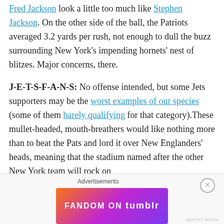Fred Jackson look a little too much like Stephen Jackson. On the other side of the ball, the Patriots averaged 3.2 yards per rush, not enough to dull the buzz surrounding New York's impending hornets' nest of blitzes. Major concerns, there.
J-E-T-S-F-A-N-S: No offense intended, but some Jets supporters may be the worst examples of our species (some of them barely qualifying for that category).These mullet-headed, mouth-breathers would like nothing more than to beat the Pats and lord it over New Englanders' heads, meaning that the stadium named after the other New York team will rock on
[Figure (other): Fandom on Tumblr advertisement banner with colorful gradient background (orange to purple) and white text reading FANDOM ON tumblr]